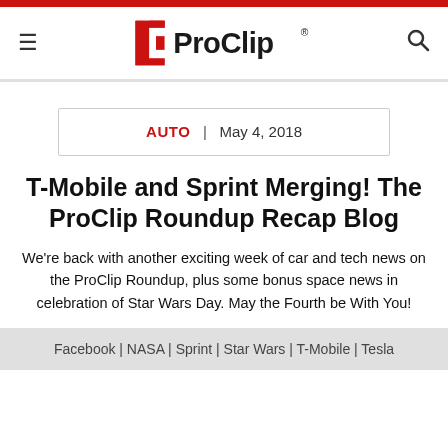[Figure (logo): ProClip logo with red bracket icon and black ProClip text with registered trademark symbol]
AUTO  |  May 4, 2018
T-Mobile and Sprint Merging! The ProClip Roundup Recap Blog
We're back with another exciting week of car and tech news on the ProClip Roundup, plus some bonus space news in celebration of Star Wars Day. May the Fourth be With You!
Facebook | NASA | Sprint | Star Wars | T-Mobile | Tesla